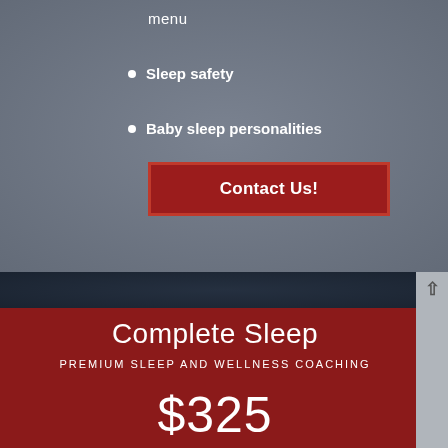menu
Sleep safety
Baby sleep personalities
Contact Us!
Complete Sleep
PREMIUM SLEEP AND WELLNESS COACHING
$325